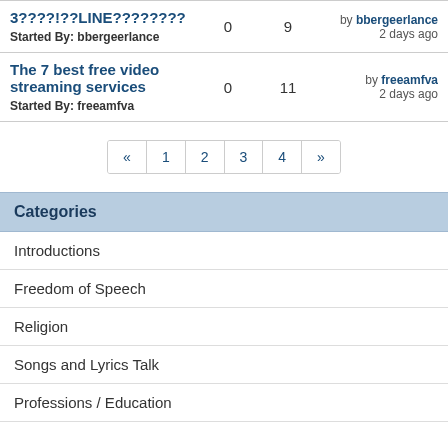| Topic | Replies | Views | Last Post |
| --- | --- | --- | --- |
| 3????!??LINE????????
Started By: bbergeerlance | 0 | 9 | by bbergeerlance
2 days ago |
| The 7 best free video streaming services
Started By: freeamfva | 0 | 11 | by freeamfva
2 days ago |
« 1 2 3 4 »
Categories
Introductions
Freedom of Speech
Religion
Songs and Lyrics Talk
Professions / Education